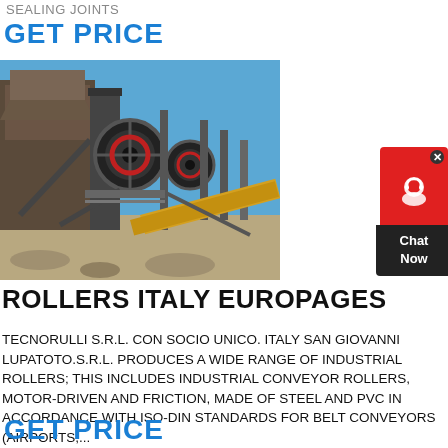SEALING JOINTS
GET PRICE
[Figure (photo): Industrial jaw crusher / roller equipment on a construction or mining site, with metal framework, conveyor belts, large flywheels, set against a blue sky background.]
ROLLERS ITALY EUROPAGES
TECNORULLI S.R.L. CON SOCIO UNICO. ITALY SAN GIOVANNI LUPATOTO.S.R.L. PRODUCES A WIDE RANGE OF INDUSTRIAL ROLLERS; THIS INCLUDES INDUSTRIAL CONVEYOR ROLLERS, MOTOR-DRIVEN AND FRICTION, MADE OF STEEL AND PVC IN ACCORDANCE WITH ISO-DIN STANDARDS FOR BELT CONVEYORS (AIRPORTS,...
GET PRICE